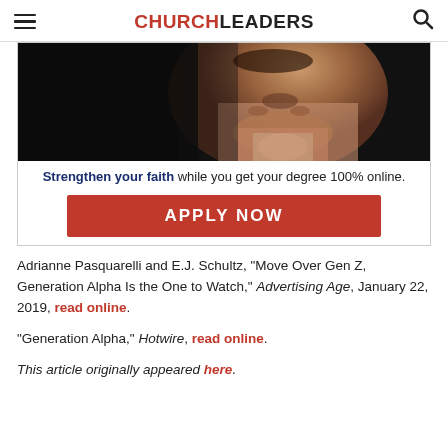CHURCHLEADERS
[Figure (photo): Advertisement image showing a man with eyes closed and hands clasped in prayer, with dark background. Below the image: 'Strengthen your faith while you get your degree 100% online.' with an APPLY NOW button in red.]
Adrianne Pasquarelli and E.J. Schultz, “Move Over Gen Z, Generation Alpha Is the One to Watch,” Advertising Age, January 22, 2019, read online.
“Generation Alpha,” Hotwire, read online.
This article originally appeared here.